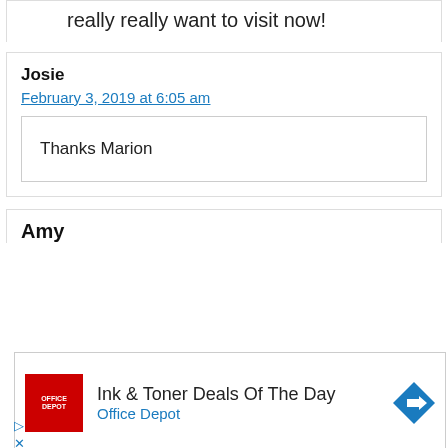really really want to visit now!
Josie
February 3, 2019 at 6:05 am
Thanks Marion
Amy
[Figure (other): Office Depot advertisement banner: Ink & Toner Deals Of The Day, Office Depot, with red logo and blue navigation arrow icon]